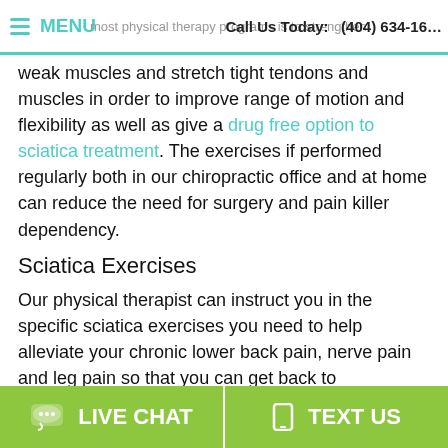MENU   Call Us Today:   (404) 634-16...
weak muscles and stretch tight tendons and muscles in order to improve range of motion and flexibility as well as give a drug free option to sciatica treatment. The exercises if performed regularly both in our chiropractic office and at home can reduce the need for surgery and pain killer dependency.
Sciatica Exercises
Our physical therapist can instruct you in the specific sciatica exercises you need to help alleviate your chronic lower back pain, nerve pain and leg pain so that you can get back to participating in your favorite activities and daily tasks. We recommend that individuals with sciatic nerve pain perform their exercises at least four times a week to improve strength and flexibility.
LIVE CHAT   TEXT US